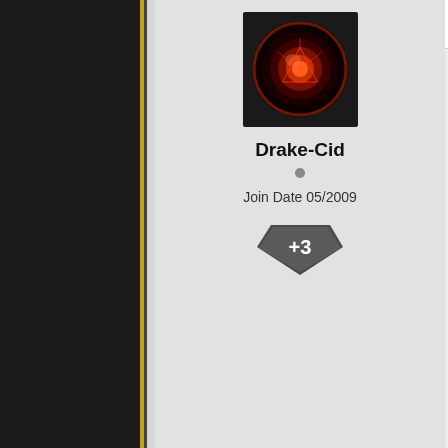Reply #16    July 16, 2009 5
[Figure (illustration): User avatar for Drake-Cid: circular dark red glowing orb/gem icon on black background]
Drake-Cid
Join Date 05/2009
[Figure (illustration): Dark hexagonal/pentagon badge shape with +3 text in white]
Quoting DoctorAwesome
I actually think there is so introduce fun/flavorful ele Jester's Scepter: The an Run like a little girl!"
Ring of Masculine Confic
Cloak of Suburbius: Roo back, along with a patio a
Helium Clasp: Makes the